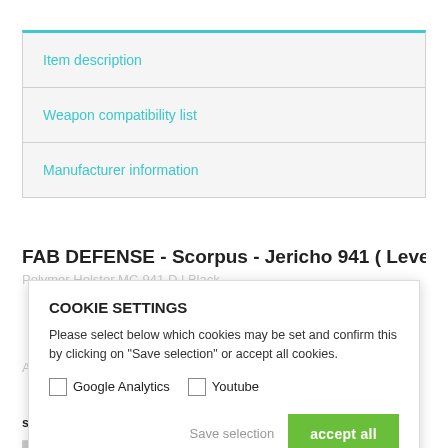Item description
Weapon compatibility list
Manufacturer information
FAB DEFENSE - Scorpus - Jericho 941 ( Level 1 ) M1
COOKIE SETTINGS
Please select below which cookies may be set and confirm this by clicking on "Save selection" or accept all cookies.
Google Analytics  Youtube
Save selection   accept all
separate opposing passive retention devices that